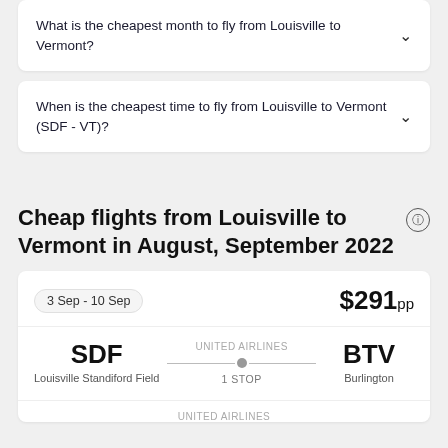What is the cheapest month to fly from Louisville to Vermont?
When is the cheapest time to fly from Louisville to Vermont (SDF - VT)?
Cheap flights from Louisville to Vermont in August, September 2022
3 Sep - 10 Sep
$291pp
SDF
Louisville Standiford Field
UNITED AIRLINES
1 STOP
BTV
Burlington
UNITED AIRLINES